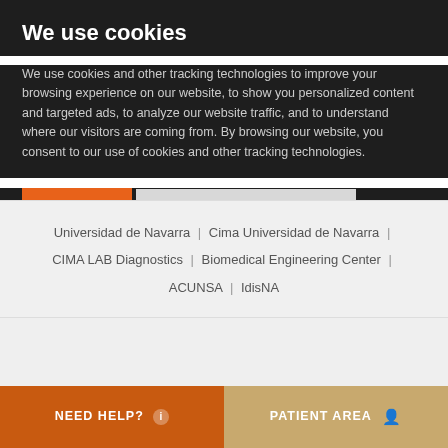We use cookies
We use cookies and other tracking technologies to improve your browsing experience on our website, to show you personalized content and targeted ads, to analyze our website traffic, and to understand where our visitors are coming from. By browsing our website, you consent to our use of cookies and other tracking technologies.
OK | CHANGE MY PREFERENCES
Universidad de Navarra  |  Cima Universidad de Navarra  |  CIMA LAB Diagnostics  |  Biomedical Engineering Center  |  ACUNSA  |  IdisNA
NEED HELP? ℹ
PATIENT AREA 👤